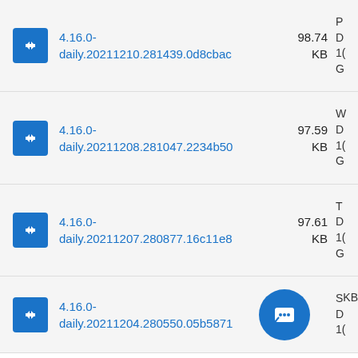4.16.0-daily.20211210.281439.0d8cbac 98.74 KB
4.16.0-daily.20211208.281047.2234b50 97.59 KB
4.16.0-daily.20211207.280877.16c11e8 97.61 KB
4.16.0-daily.20211204.280550.05b5871 KB